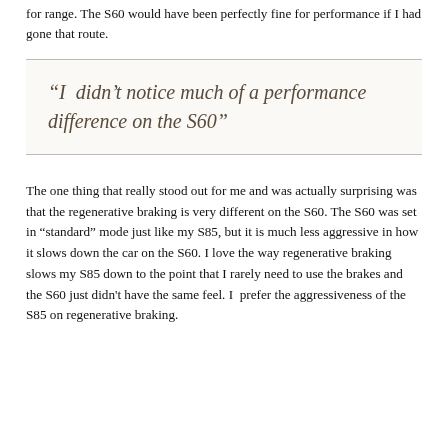for range. The S60 would have been perfectly fine for performance if I had gone that route.
“I didn’t notice much of a performance difference on the S60”
The one thing that really stood out for me and was actually surprising was that the regenerative braking is very different on the S60. The S60 was set in “standard” mode just like my S85, but it is much less aggressive in how it slows down the car on the S60. I love the way regenerative braking slows my S85 down to the point that I rarely need to use the brakes and the S60 just didn't have the same feel. I prefer the aggressiveness of the S85 on regenerative braking.